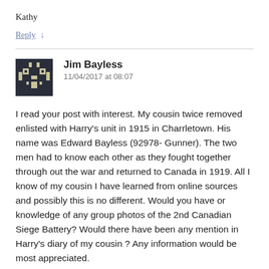Kathy
Reply ↓
[Figure (illustration): Pixelated avatar icon with dark background and light figure resembling a robot or character]
Jim Bayless
11/04/2017 at 08:07
I read your post with interest. My cousin twice removed enlisted with Harry's unit in 1915 in Charrletown. His name was Edward Bayless (92978- Gunner). The two men had to know each other as they fought together through out the war and returned to Canada in 1919. All I know of my cousin I have learned from online sources and possibly this is no different. Would you have or knowledge of any group photos of the 2nd Canadian Siege Battery? Would there have been any mention in Harry's diary of my cousin ? Any information would be most appreciated.